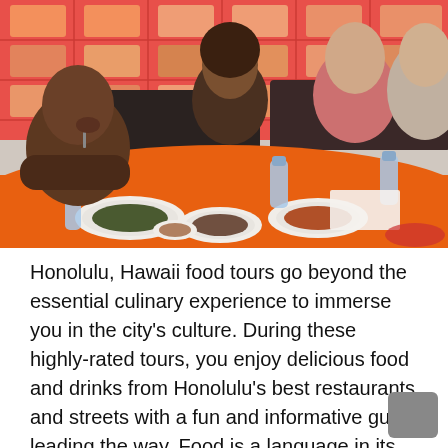[Figure (photo): Group of people sitting around an orange-tablecloth table in a restaurant, eating food. Plates with food, water bottles, and bowls are visible on the table. Wall decorated with food images in the background.]
Honolulu, Hawaii food tours go beyond the essential culinary experience to immerse you in the city's culture. During these highly-rated tours, you enjoy delicious food and drinks from Honolulu's best restaurants and streets with a fun and informative guide leading the way. Food is a language in its